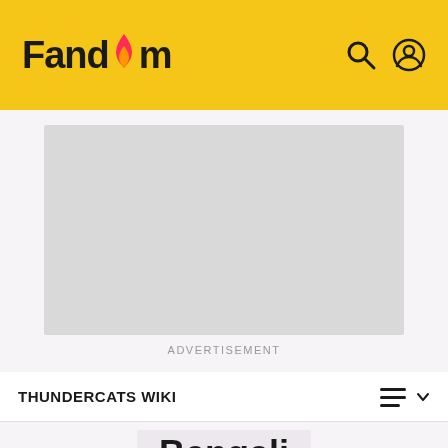Fandom
[Figure (other): Gray advertisement placeholder rectangle]
ADVERTISEMENT
THUNDERCATS WIKI
Bengali
EDIT